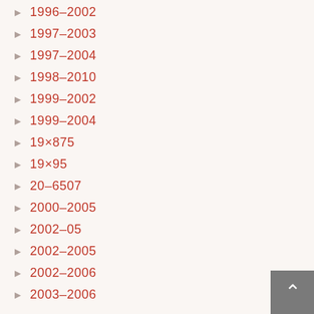1996–2002
1997–2003
1997–2004
1998–2010
1999–2002
1999–2004
19×875
19×95
20–6507
2000–2005
2002–05
2002–2005
2002–2006
2003–2006